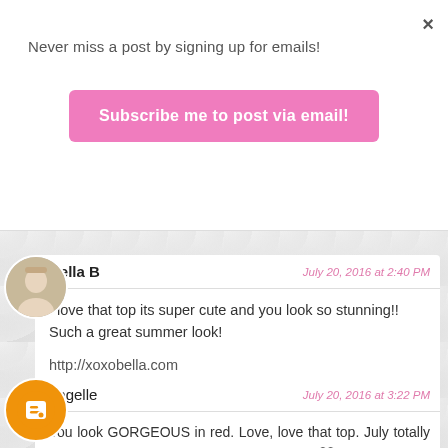Never miss a post by signing up for emails!
Subscribe me to post via email!
×
Bella B — July 20, 2016 at 2:40 PM
I love that top its super cute and you look so stunning!! Such a great summer look!

http://xoxobella.com
Reply
angelle — July 20, 2016 at 3:22 PM
You look GORGEOUS in red. Love, love that top. July totally nailed it. And, hello, I love the Bachelorette 🖤